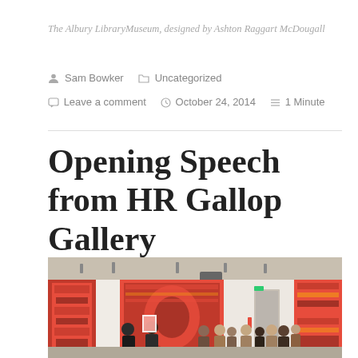The Albury LibraryMuseum, designed by Ashton Raggart McDougall
Sam Bowker  Uncategorized
Leave a comment  October 24, 2014  1 Minute
Opening Speech from HR Gallop Gallery
[Figure (photo): Interior photo of an art gallery showing large decorative textile/tapestry works in red patterns on white walls, with a group of people gathered for what appears to be an opening event speech. The ceiling has track lighting and a projector is visible.]